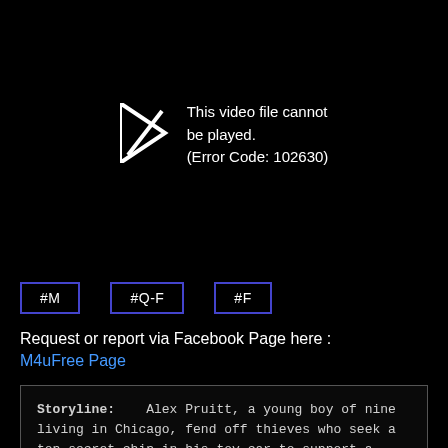[Figure (screenshot): Video player error screen showing a play button icon with an X and the error message: This video file cannot be played. (Error Code: 102630)]
#M
#Q-F
#F
Request or report via Facebook Page here :
M4uFree Page
Storyline:    Alex Pruitt, a young boy of nine living in Chicago, fend off thieves who seek a top-secret chip in his toy car to support a